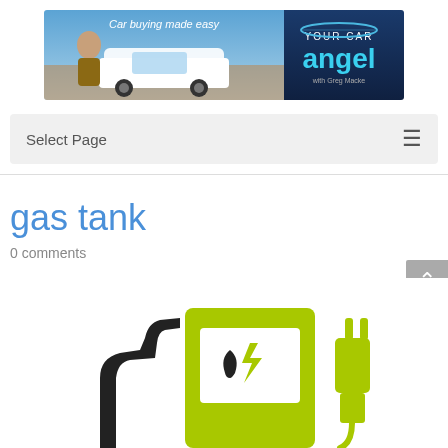[Figure (photo): Banner advertisement for 'Your Car Angel' with tagline 'Car buying made easy', showing a man next to a white SUV with a blue sky canyon background and the Your Car Angel logo with text 'with Greg Macke']
Select Page
gas tank
0 comments
[Figure (illustration): Illustration of a gas pump / electric charging station icon in yellow-green (lime) color with black fuel nozzle, showing a fuel drop and lightning bolt symbol on the pump face, and an electric plug on the right side]